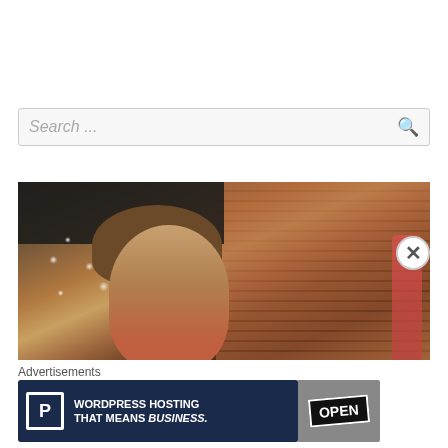[Figure (screenshot): Search bar UI element with placeholder text 'Search ...' and a magnifying glass icon on the right, on a light gray background with border]
[Figure (photo): Close-up photo of a young woman with brown hair, wearing a red shirt, resting her chin on her hand, sitting at an outdoor restaurant patio with brick wall background, decorative dark screen with white dot pattern visible on the left]
Advertisements
[Figure (screenshot): WordPress hosting advertisement banner with dark navy background, 'P' icon in white box, text 'WORDPRESS HOSTING THAT MEANS BUSINESS.' in white bold text, and an OPEN sign image on the right]